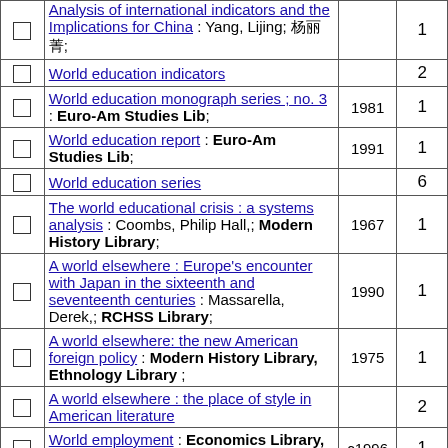|  | Title / Author / Library | Year | Count |
| --- | --- | --- | --- |
| ☐ | Analysis of international indicators and the Implications for China : Yang, Lijing; 杨丽菁; | 1 |  |
| ☐ | World education indicators |  | 2 |
| ☐ | World education monograph series ; no. 3 : Euro-Am Studies Lib; | 1981 | 1 |
| ☐ | World education report : Euro-Am Studies Lib; | 1991 | 1 |
| ☐ | World education series |  | 6 |
| ☐ | The world educational crisis : a systems analysis : Coombs, Philip Hall,; Modern History Library; | 1967 | 1 |
| ☐ | A world elsewhere : Europe's encounter with Japan in the sixteenth and seventeenth centuries : Massarella, Derek,; RCHSS Library; | 1990 | 1 |
| ☐ | A world elsewhere: the new American foreign policy : Modern History Library, Ethnology Library ; | 1975 | 1 |
| ☐ | A world elsewhere : the place of style in American literature |  | 2 |
| ☐ | World employment : Economics Library, Ethnology Library ; | c1996 | 1 |